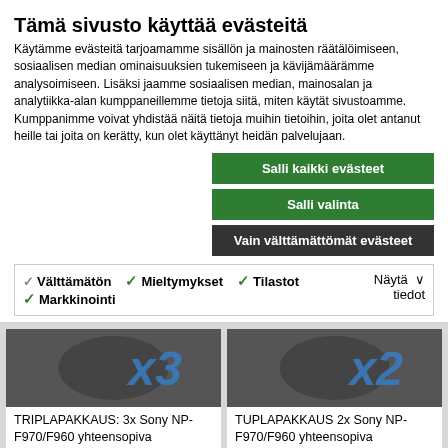Tämä sivusto käyttää evästeitä
Käytämme evästeitä tarjoamamme sisällön ja mainosten räätälöimiseen, sosiaalisen median ominaisuuksien tukemiseen ja kävijämäärämme analysoimiseen. Lisäksi jaamme sosiaalisen median, mainosalan ja analytiikka-alan kumppaneillemme tietoja siitä, miten käytät sivustoamme. Kumppanimme voivat yhdistää näitä tietoja muihin tietoihin, joita olet antanut heille tai joita on kerätty, kun olet käyttänyt heidän palvelujaan.
Salli kaikki evästeet
Salli valinta
Vain välttämättömät evästeet
Välttämätön  Mieltymykset  Tilastot  Markkinointi  Näytä tiedot
[Figure (photo): Product image showing triple-pack battery with x3 label]
TRIPLAPAKKAUS: 3x Sony NP-F970/F960 yhteensopiva InfoLithium akku
189,90 €
209,70 €
[Figure (photo): Product image showing double-pack battery with x2 label]
TUPLAPAKKAUS 2x Sony NP-F970/F960 yhteensopiva InfoLithium akku
129,00 €
139,80 €